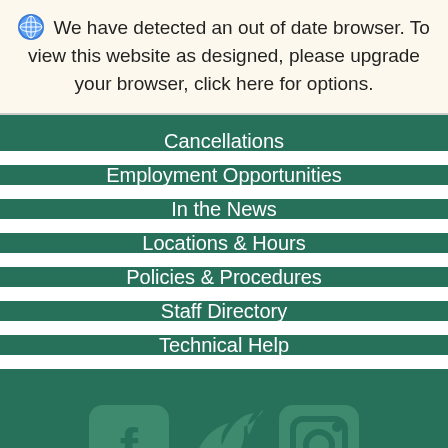We have detected an out of date browser. To view this website as designed, please upgrade your browser, click here for options.
Cancellations
Employment Opportunities
In the News
Locations & Hours
Policies & Procedures
Staff Directory
Technical Help
[Figure (illustration): Social media icons: Facebook, Twitter, Instagram in muted teal color]